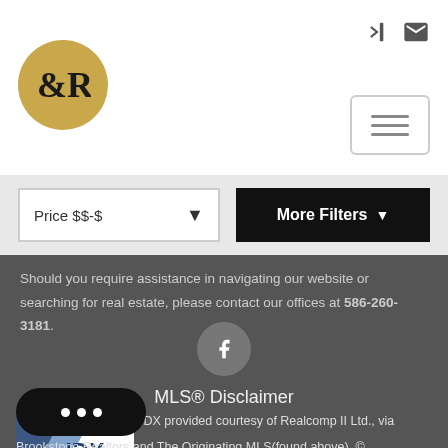[Figure (logo): Circular gold logo with ampersand and letter R]
[Figure (screenshot): Header icons: login icon and envelope icon, plus hamburger menu button]
[Figure (screenshot): Filter bar with Price $$-$ dropdown and More Filters button]
Should you require assistance in navigating our website or searching for real estate, please contact our offices at 586-260-3181.
[Figure (logo): Facebook icon in a gray circle]
MLS® Disclaimer
[Figure (logo): Realcomp IDX logo]
IDX provided courtesy of Realcomp II Ltd., via
Brookstone Realtors and The Originating MLS(found above). ©